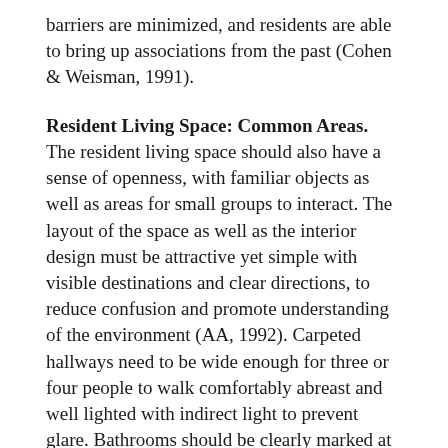barriers are minimized, and residents are able to bring up associations from the past (Cohen & Weisman, 1991).
Resident Living Space: Common Areas.
The resident living space should also have a sense of openness, with familiar objects as well as areas for small groups to interact. The layout of the space as well as the interior design must be attractive yet simple with visible destinations and clear directions, to reduce confusion and promote understanding of the environment (AA, 1992). Carpeted hallways need to be wide enough for three or four people to walk comfortably abreast and well lighted with indirect light to prevent glare. Bathrooms should be clearly marked at convenient locations along the way. Handrails for safety are essential and interest areas, such